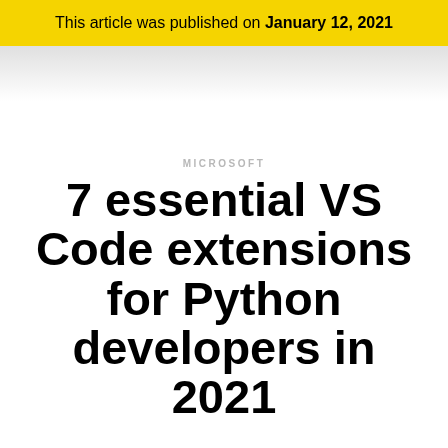This article was published on January 12, 2021
MICROSOFT
7 essential VS Code extensions for Python developers in 2021
January 12, 2021 - 4:00 pm